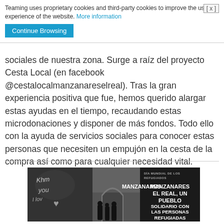Teaming uses proprietary cookies and third-party cookies to improve the user experience of the website. More information
Continue Browsing
sociales de nuestra zona. Surge a raíz del proyecto Cesta Local (en facebook @cestalocalmanzanareselreal). Tras la gran experiencia positiva que fue, hemos querido alargar estas ayudas en el tiempo, recaudando estas microdonaciones y disponer de más fondos. Todo ello con la ayuda de servicios sociales para conocer estas personas que necesiten un empujón en la cesta de la compra así como para cualquier necesidad vital.
[Figure (photo): Black and white composite image. Left panel: graffiti text 'Khm you I love' on a wall. Center panel: people gathered near an arch doorway. Right panel: text overlay reading 'DÍA MUNDIAL DE LOS REFUGIADOS - MANZANARES EL REAL, UN PUEBLO SOLIDARIO CON LAS PERSONAS REFUGIADAS']